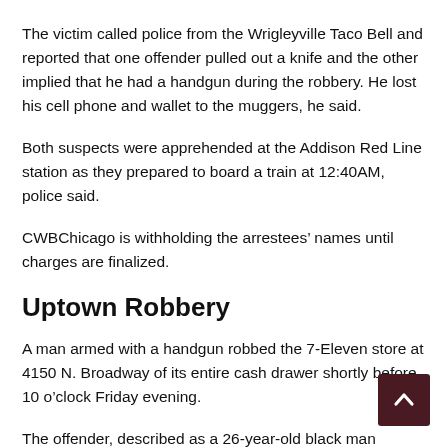The victim called police from the Wrigleyville Taco Bell and reported that one offender pulled out a knife and the other implied that he had a handgun during the robbery. He lost his cell phone and wallet to the muggers, he said.
Both suspects were apprehended at the Addison Red Line station as they prepared to board a train at 12:40AM, police said.
CWBChicago is withholding the arrestees' names until charges are finalized.
Uptown Robbery
A man armed with a handgun robbed the 7-Eleven store at 4150 N. Broadway of its entire cash drawer shortly before 10 o'clock Friday evening.
The offender, described as a 26-year-old black man wearing a baseball cap and a navy hoodie, was last seen running...